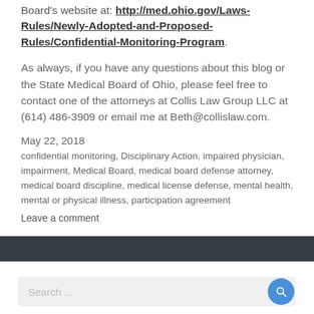Board's website at: http://med.ohio.gov/Laws-Rules/Newly-Adopted-and-Proposed-Rules/Confidential-Monitoring-Program.
As always, if you have any questions about this blog or the State Medical Board of Ohio, please feel free to contact one of the attorneys at Collis Law Group LLC at (614) 486-3909 or email me at Beth@collislaw.com.
May 22, 2018
confidential monitoring, Disciplinary Action, impaired physician, impairment, Medical Board, medical board defense attorney, medical board discipline, medical license defense, mental health, mental or physical illness, participation agreement
Leave a comment